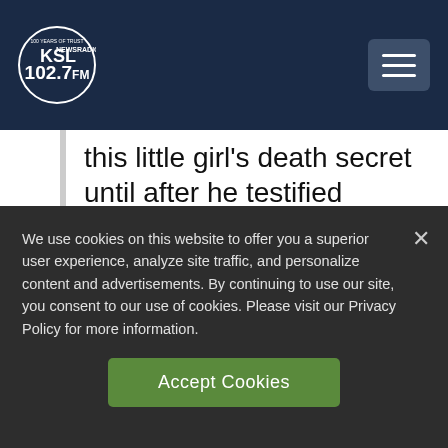[Figure (logo): KSL NewsRadio 102.7 FM logo — circular logo with KSL text and '100 Years of Trust' tagline, white on dark navy background]
this little girl's death secret until after he testified before me & Senate Judiciary Committee this week? I will be demanding answers.

— Richard Blumenthal
We use cookies on this website to offer you a superior user experience, analyze site traffic, and personalize content and advertisements. By continuing to use our site, you consent to our use of cookies. Please visit our Privacy Policy for more information.
Accept Cookies